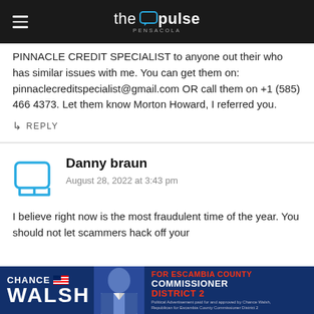the pulse pensacola
PINNACLE CREDIT SPECIALIST to anyone out their who has similar issues with me. You can get them on: pinnaclecreditspecialist@gmail.com OR call them on +1 (585) 466 4373. Let them know Morton Howard, I referred you.
↳ REPLY
Danny braun
August 28, 2022 at 3:43 pm
I believe right now is the most fraudulent time of the year. You should not let scammers hack off your
[Figure (infographic): Political advertisement banner for Chance Walsh for Escambia County Commissioner District 2]